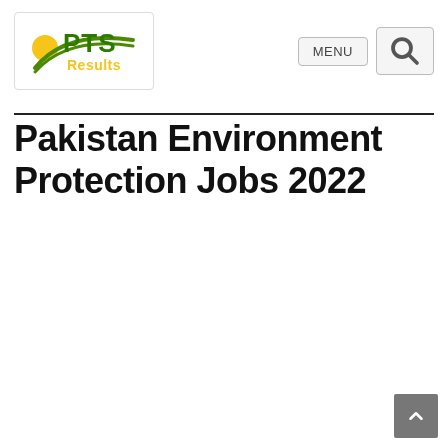[Figure (logo): PTS Results logo with sun/swoosh graphic, green PTS text, yellow Results text]
Pakistan Environment Protection Jobs 2022